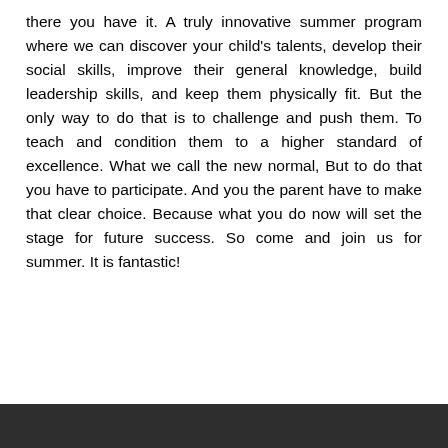there you have it. A truly innovative summer program where we can discover your child's talents, develop their social skills, improve their general knowledge, build leadership skills, and keep them physically fit. But the only way to do that is to challenge and push them. To teach and condition them to a higher standard of excellence. What we call the new normal, But to do that you have to participate. And you the parent have to make that clear choice. Because what you do now will set the stage for future success. So come and join us for summer. It is fantastic!